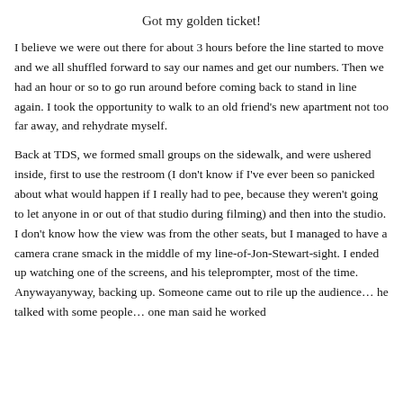Got my golden ticket!
I believe we were out there for about 3 hours before the line started to move and we all shuffled forward to say our names and get our numbers. Then we had an hour or so to go run around before coming back to stand in line again. I took the opportunity to walk to an old friend's new apartment not too far away, and rehydrate myself.
Back at TDS, we formed small groups on the sidewalk, and were ushered inside, first to use the restroom (I don't know if I've ever been so panicked about what would happen if I really had to pee, because they weren't going to let anyone in or out of that studio during filming) and then into the studio. I don't know how the view was from the other seats, but I managed to have a camera crane smack in the middle of my line-of-Jon-Stewart-sight. I ended up watching one of the screens, and his teleprompter, most of the time. Anywayanyway, backing up. Someone came out to rile up the audience… he talked with some people… one man said he worked